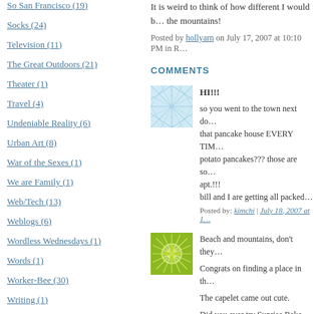So San Francisco (19)
Socks (24)
Television (11)
The Great Outdoors (21)
Theater (1)
Travel (4)
Undeniable Reality (6)
Urban Art (8)
War of the Sexes (1)
We are Family (1)
Web/Tech (13)
Weblogs (6)
Wordless Wednesdays (1)
Words (1)
Worker-Bee (30)
Writing (1)
Yoga (3)
ARCHIVES
It is weird to think of how different I would be... the mountains!
Posted by hollyarn on July 17, 2007 at 10:10 PM in R...
COMMENTS
[Figure (illustration): Avatar image with blue abstract pattern]
HI!!!
so you went to the town next do... that pancake house EVERY TIM... potato pancakes??? those are so... apt.!!!
bill and I are getting all packed...
Posted by: kimchi | July 18, 2007 at 1...
[Figure (illustration): Avatar image with green floral/starburst pattern]
Beach and mountains, don't they...
Congrats on finding a place in th...
The capelet came out cute.
Did you ever try Sunrise Bake...